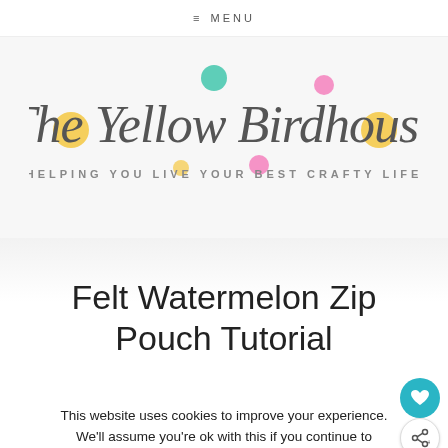≡ MENU
[Figure (logo): The Yellow Birdhouse logo with decorative script text and colorful ornament dots, subtitle: HELPING YOU LIVE YOUR BEST CRAFTY LIFE]
Felt Watermelon Zip Pouch Tutorial
This website uses cookies to improve your experience. We'll assume you're ok with this if you continue to visit this site. If not, feel free to leave, no hard feelings!
Accept   Read More